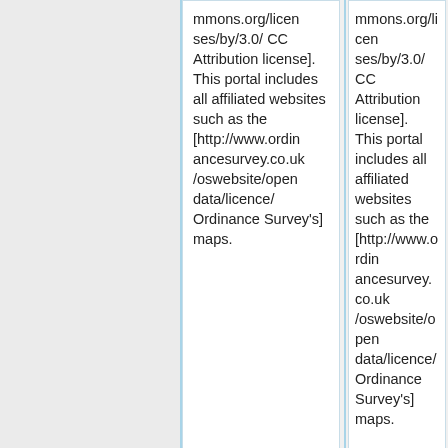mmons.org/licenses/by/3.0/ CC Attribution license]. This portal includes all affiliated websites such as the [http://www.ordinancesurvey.co.uk/oswebsite/opendata/licence/ Ordinance Survey's] maps.
mmons.org/licenses/by/3.0/ CC Attribution license]. This portal includes all affiliated websites such as the [http://www.ordinancesurvey.co.uk/oswebsite/opendata/licence/ Ordinance Survey's] maps.
==Other public datasets==
A list on Github of Awesome public datasets,